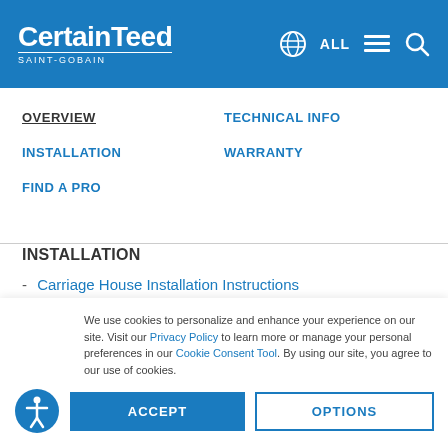[Figure (logo): CertainTeed SAINT-GOBAIN logo in white on blue header, with globe icon, ALL text, hamburger menu, and search icon]
OVERVIEW
TECHNICAL INFO
INSTALLATION
WARRANTY
FIND A PRO
INSTALLATION
Carriage House Installation Instructions (More Info)
We use cookies to personalize and enhance your experience on our site. Visit our Privacy Policy to learn more or manage your personal preferences in our Cookie Consent Tool. By using our site, you agree to our use of cookies.
ACCEPT
OPTIONS